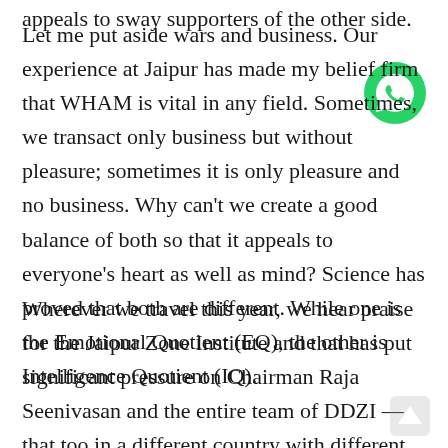appeals to sway supporters of the other side.
Let me put aside wars and business. Our experience at Jaipur has made my belief firm that WHAM is vital in any field. Sometimes, we transact only business but without pleasure; sometimes it is only pleasure and no business. Why can't we create a good balance of both so that it appeals to everyone's heart as well as mind? Science has proved that both are different. While one is the Emotional Quotient (EQ), the other is Intelligence Quotient (IQ).
Wherever we travel this year, we hear praise for the Jaipur Zone Institute and that has put significant pressure on Chairman Raja Seenivasan and the entire team of DDZI — that too in a different country with different sets of rules. Can you believe